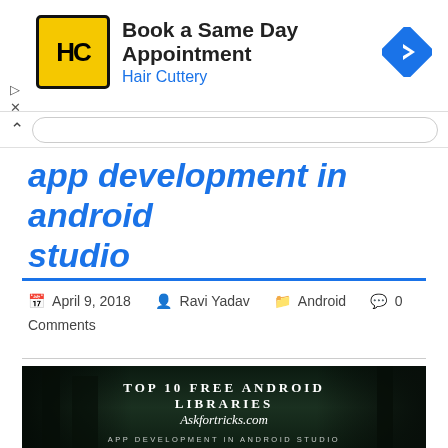[Figure (infographic): Hair Cuttery advertisement banner: logo with HC letters in black on yellow background, headline 'Book a Same Day Appointment', subtext 'Hair Cuttery' in blue, blue diamond arrow icon on right]
app development in android studio
April 9, 2018  Ravi Yadav  Android  0 Comments
[Figure (infographic): Featured image with dark forest/tree background. Text overlay reads: TOP 10 FREE ANDROID LIBRARIES, Askfortricks.com, APP DEVELOPMENT IN ANDROID STUDIO]